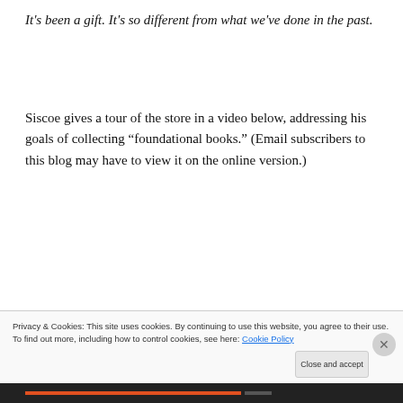It's been a gift. It's so different from what we've done in the past.
Siscoe gives a tour of the store in a video below, addressing his goals of collecting “foundational books.” (Email subscribers to this blog may have to view it on the online version.)
[Figure (screenshot): YouTube video thumbnail showing 'Old Professor's Bookstore' with teal avatar circle with letter J, and a person visible in background]
Privacy & Cookies: This site uses cookies. By continuing to use this website, you agree to their use.
To find out more, including how to control cookies, see here: Cookie Policy